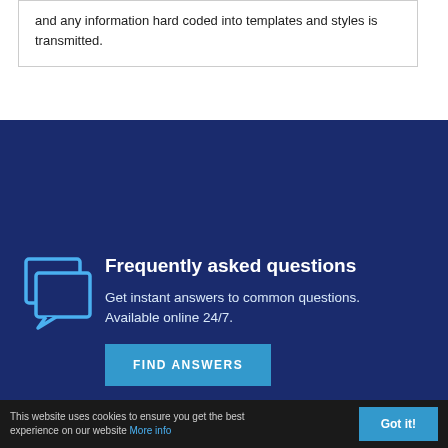and any information hard coded into templates and styles is transmitted.
[Figure (illustration): Chat bubbles icon in light blue outline on dark navy background, representing FAQ section]
Frequently asked questions
Get instant answers to common questions. Available online 24/7.
FIND ANSWERS
[Figure (illustration): Support ticket upload icon in light blue outline on dark navy background]
Raise a support ticket
To raise a ticket, sign into Acquia Cloud and
This website uses cookies to ensure you get the best experience on our website More info
Got it!